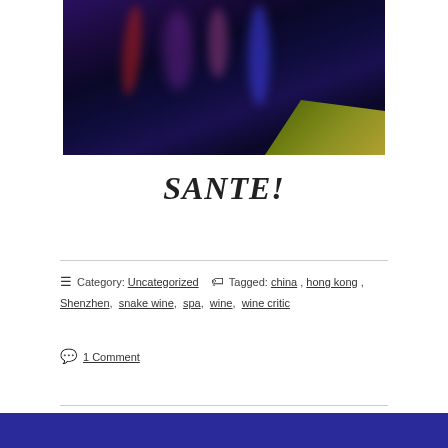[Figure (photo): Nighttime photo of colorful light reflections (red, blue, purple) on water, with a yellow-green boat edge visible in the lower right corner.]
SANTE!
Category: Uncategorized   Tagged: china, hong kong, Shenzhen, snake wine, spa, wine, wine critic
1 Comment